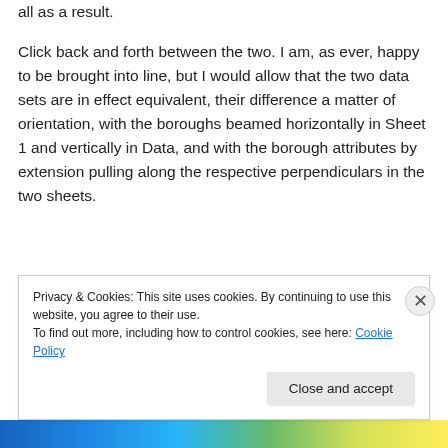all as a result.
Click back and forth between the two. I am, as ever, happy to be brought into line, but I would allow that the two data sets are in effect equivalent, their difference a matter of orientation, with the boroughs beamed horizontally in Sheet 1 and vertically in Data, and with the borough attributes by extension pulling along the respective perpendiculars in the two sheets.
Privacy & Cookies: This site uses cookies. By continuing to use this website, you agree to their use.
To find out more, including how to control cookies, see here: Cookie Policy